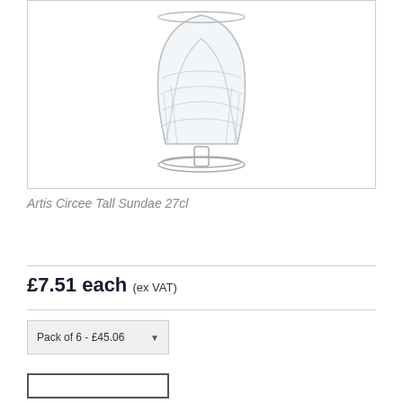[Figure (photo): Product photo of Artis Circee Tall Sundae 27cl glass — a clear glass sundae cup with a twisted/swirl design body and a wide flat base, photographed on white background.]
Artis Circee Tall Sundae 27cl
£7.51 each (ex VAT)
Pack of 6 - £45.06